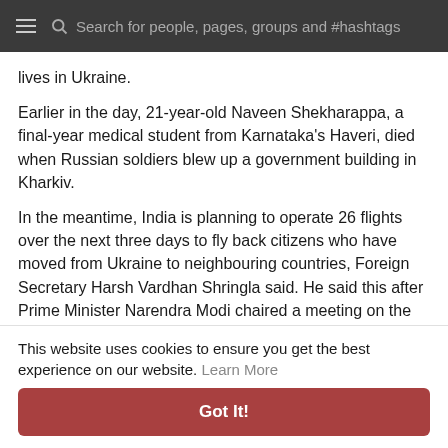Search for people, pages, groups and #hashtags
lives in Ukraine.
Earlier in the day, 21-year-old Naveen Shekharappa, a final-year medical student from Karnataka's Haveri, died when Russian soldiers blew up a government building in Kharkiv.
In the meantime, India is planning to operate 26 flights over the next three days to fly back citizens who have moved from Ukraine to neighbouring countries, Foreign Secretary Harsh Vardhan Shringla said. He said this after Prime Minister Narendra Modi chaired a meeting on the country's evacuation efforts.
[Figure (other): Like button, comment button, and share button icons]
This website uses cookies to ensure you get the best experience on our website. Learn More
Got It!